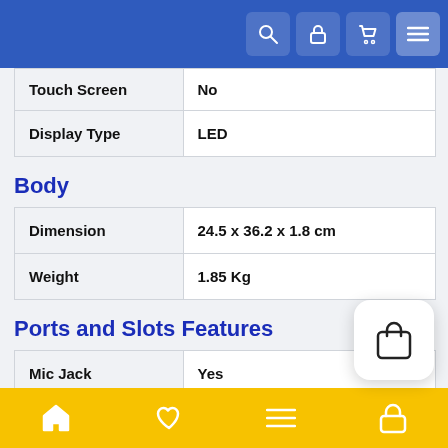Navigation bar with search, lock, cart, and menu icons
| Feature | Value |
| --- | --- |
| Touch Screen | No |
| Display Type | LED |
Body
| Feature | Value |
| --- | --- |
| Dimension | 24.5 x 36.2 x 1.8 cm |
| Weight | 1.85 Kg |
Ports and Slots Features
| Feature | Value |
| --- | --- |
| Mic Jack | Yes |
| Sd card reader | Yes |
| Mic In | Yes |
Bottom navigation bar with home, wishlist, menu, and cart icons